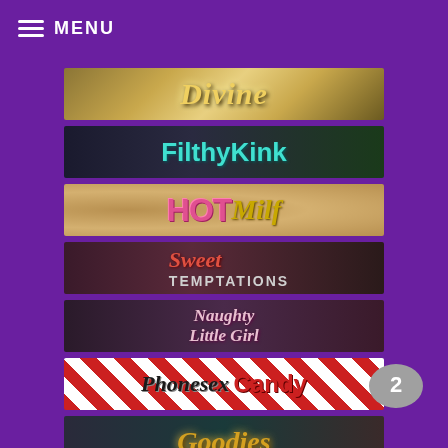MENU
[Figure (illustration): Banner for 'Divine' - gold/yellow styled text on golden background]
[Figure (illustration): Banner for 'FilthyKink' - teal styled text on dark background with person]
[Figure (illustration): Banner for 'HOT Milf' - pink and gold styled text on leopard print background]
[Figure (illustration): Banner for 'Sweet Temptations' - red and grey styled text on dark background with person]
[Figure (illustration): Banner for 'Naughty Little Girl' - pink styled text on dark background with person]
[Figure (illustration): Banner for 'Phonesex Candy' - black and red styled text on candy stripe background]
[Figure (illustration): Banner for 'Goodies' - gold styled text on dark background with person]
[Figure (illustration): Banner for 'LOSERS' - gold styled text on dark red background]
[Figure (illustration): Banner for 'Mamas' - pink styled text on light blue background]